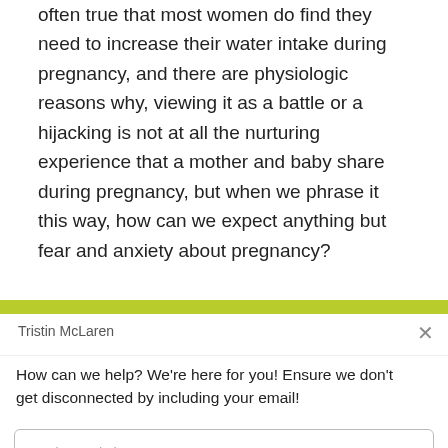often true that most women do find they need to increase their water intake during pregnancy, and there are physiologic reasons why, viewing it as a battle or a hijacking is not at all the nurturing experience that a mother and baby share during pregnancy, but when we phrase it this way, how can we expect anything but fear and anxiety about pregnancy?
What could it look like if we took the perspective that
Tristin McLaren
How can we help? We're here for you! Ensure we don't get disconnected by including your email!
Reply to Tristin McLaren
Chat ⚡ by Drift